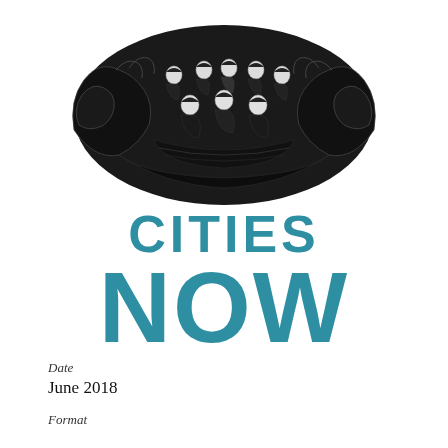[Figure (illustration): Black and white illustration of two large hands cupping a group of people (approximately 7-8 figures) seated together, viewed from above, on a dark background.]
CITIES NOW
Date
June 2018
Format